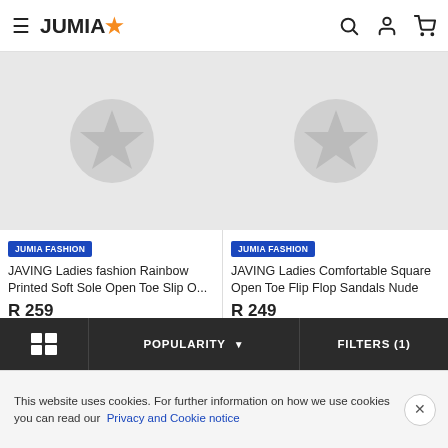JUMIA
[Figure (screenshot): Jumia product listing page showing two sandal products side by side with placeholder star images]
JUMIA FASHION
JAVING Ladies fashion Rainbow Printed Soft Sole Open Toe Slip O...
R 259
ADD TO CART
JUMIA FASHION
JAVING Ladies Comfortable Square Open Toe Flip Flop Sandals Nude
R 249
ADD TO CART
POPULARITY   FILTERS (1)
This website uses cookies. For further information on how we use cookies you can read our Privacy and Cookie notice